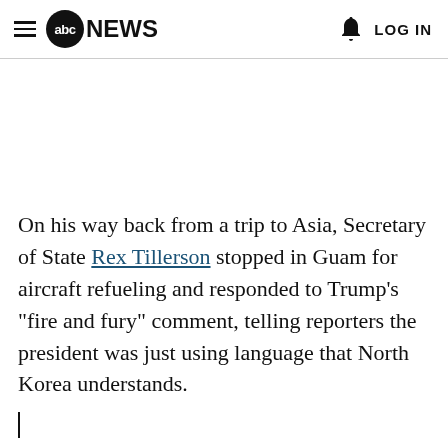abc NEWS  LOG IN
On his way back from a trip to Asia, Secretary of State Rex Tillerson stopped in Guam for aircraft refueling and responded to Trump's "fire and fury" comment, telling reporters the president was just using language that North Korea understands.